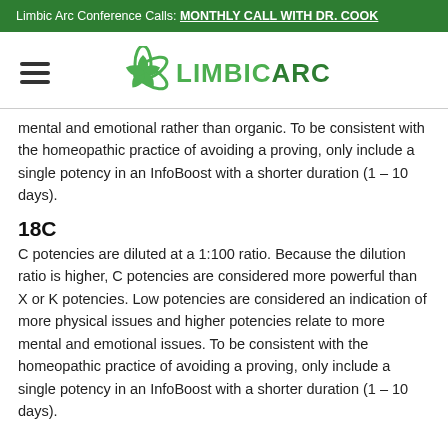Limbic Arc Conference Calls: MONTHLY CALL WITH DR. COOK
[Figure (logo): Limbic Arc logo with green pinwheel icon and text LIMBIC ARC]
mental and emotional rather than organic. To be consistent with the homeopathic practice of avoiding a proving, only include a single potency in an InfoBoost with a shorter duration (1 – 10 days).
18C
C potencies are diluted at a 1:100 ratio. Because the dilution ratio is higher, C potencies are considered more powerful than X or K potencies. Low potencies are considered an indication of more physical issues and higher potencies relate to more mental and emotional issues. To be consistent with the homeopathic practice of avoiding a proving, only include a single potency in an InfoBoost with a shorter duration (1 – 10 days).